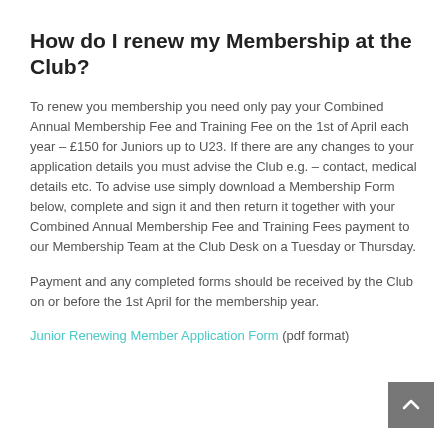How do I renew my Membership at the Club?
To renew you membership you need only pay your Combined Annual Membership Fee and Training Fee on the 1st of April each year – £150 for Juniors up to U23. If there are any changes to your application details you must advise the Club e.g. – contact, medical details etc. To advise use simply download a Membership Form below, complete and sign it and then return it together with your Combined Annual Membership Fee and Training Fees payment to our Membership Team at the Club Desk on a Tuesday or Thursday.
Payment and any completed forms should be received by the Club on or before the 1st April for the membership year.
Junior Renewing Member Application Form (pdf format)